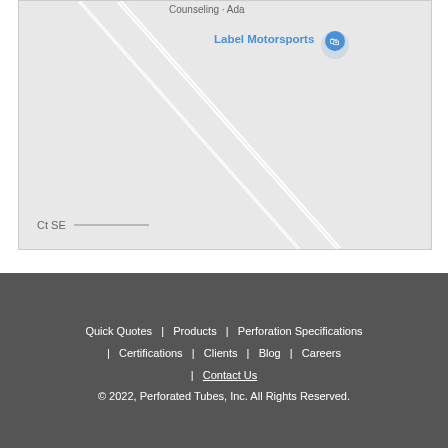[Figure (map): Google Maps screenshot showing a street map area with 'Label Motorsports' location pin marked in blue, and 'Ct SE' street label visible at bottom left. A diagonal road runs through the map.]
Quick Quotes  |  Products  |  Perforation Specifications  |  Certifications  |  Clients  |  Blog  |  Careers  |  Contact Us
© 2022, Perforated Tubes, Inc. All Rights Reserved.